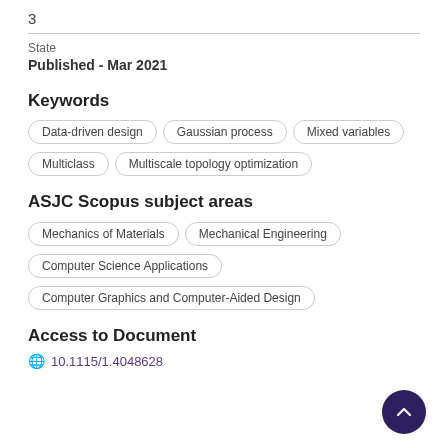3
State
Published - Mar 2021
Keywords
Data-driven design
Gaussian process
Mixed variables
Multiclass
Multiscale topology optimization
ASJC Scopus subject areas
Mechanics of Materials
Mechanical Engineering
Computer Science Applications
Computer Graphics and Computer-Aided Design
Access to Document
10.1115/1.4048628